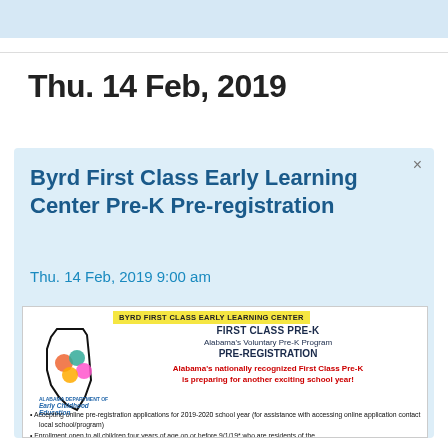Thu. 14 Feb, 2019
Byrd First Class Early Learning Center Pre-K Pre-registration
Thu. 14 Feb, 2019 9:00 am
[Figure (infographic): Flyer for Byrd First Class Early Learning Center First Class Pre-K, Alabama's Voluntary Pre-K Program Pre-Registration. Features Alabama Department of Early Childhood Education logo with Alabama state outline graphic. Text states Alabama's nationally recognized First Class Pre-K is preparing for another exciting school year. Bullets mention accepting online pre-registration applications for 2019-2020 school year and enrollment open to all children four years of age on or before 9/1/19 who are residents of the...]